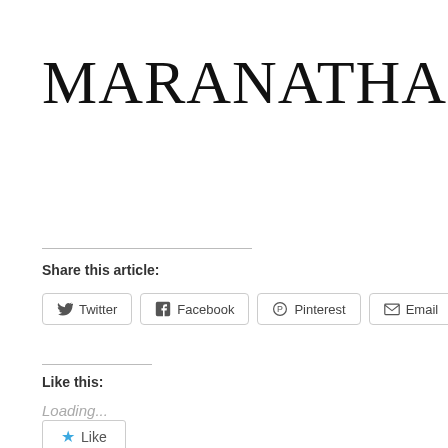MARANATHA!!
Share this article:
Twitter  Facebook  Pinterest  Email  More
Like this:
Loading...
Like
6 bloggers like this.